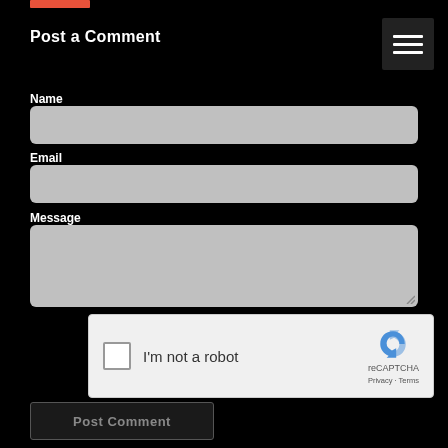[Figure (other): Red horizontal bar at top left (partial, cropped)]
Post a Comment
[Figure (other): Hamburger menu button (three horizontal lines on dark background) in top right corner]
Name
[Figure (other): Gray input field for Name]
Email
[Figure (other): Gray input field for Email]
Message
[Figure (other): Gray textarea for Message]
[Figure (other): reCAPTCHA widget: checkbox 'I'm not a robot' with reCAPTCHA logo, Privacy and Terms links]
[Figure (other): Post Comment button]